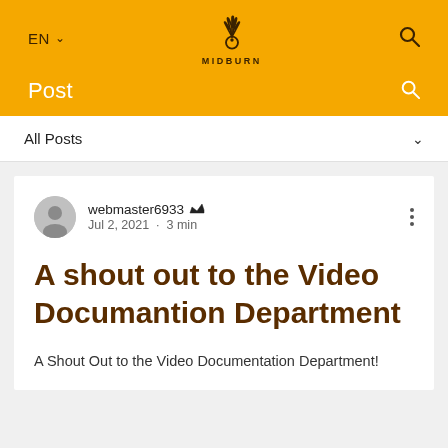EN  ∨  MIDBURN  🔍
Post  🔍
All Posts  ∨
webmaster6933 👑  Jul 2, 2021 · 3 min
A shout out to the Video Documantion Department
A Shout Out to the Video Documentation Department!